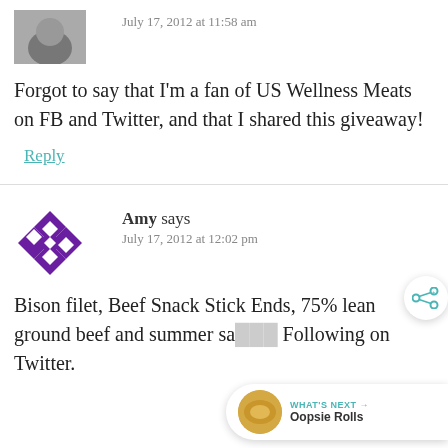[Figure (photo): User avatar thumbnail, partially visible at top]
July 17, 2012 at 11:58 am
Forgot to say that I'm a fan of US Wellness Meats on FB and Twitter, and that I shared this giveaway!
Reply
[Figure (logo): Purple geometric quilt-pattern avatar for Amy]
Amy says
July 17, 2012 at 12:02 pm
Bison filet, Beef Snack Stick Ends, 75% lean ground beef and summer sa... Following on Twitter.
[Figure (infographic): What's Next widget showing Oopsie Rolls thumbnail and share icon]